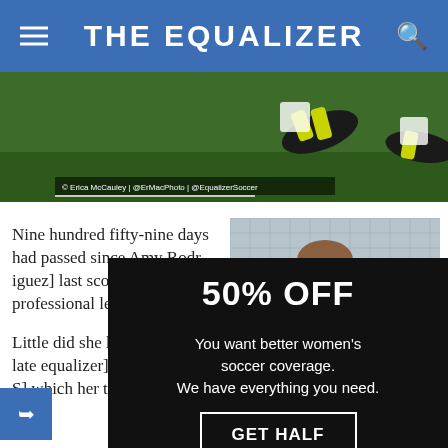THE EQUALIZER
[Figure (photo): Soccer player on grass field, cleats visible, player appears down on the ground. Photo credit: Erica McCauley | @ErMacPhoto | @EqualizerSoccer]
[Figure (photo): Female soccer player in front of a goal net]
Nine hundred fifty-nine days had passed since Amy Rodr[iguez] last scored in a professional lea[gue] game.
[Figure (infographic): Popup advertisement overlay: 50% OFF — You want better women's soccer coverage. We have everything you need. GET HALF OFF button.]
Little did she kn[ow] that her late eq[ualizer] in the 2011 WP[S] which her tea[m]